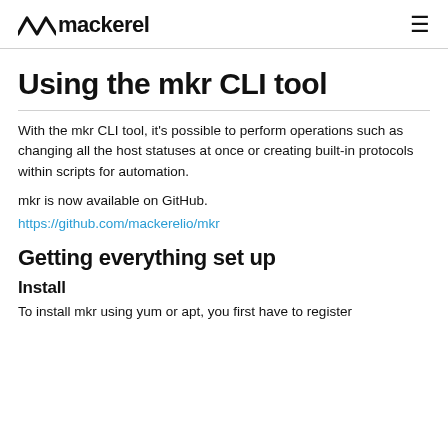mackerel
Using the mkr CLI tool
With the mkr CLI tool, it's possible to perform operations such as changing all the host statuses at once or creating built-in protocols within scripts for automation.
mkr is now available on GitHub.
https://github.com/mackerelio/mkr
Getting everything set up
Install
To install mkr using yum or apt, you first have to register